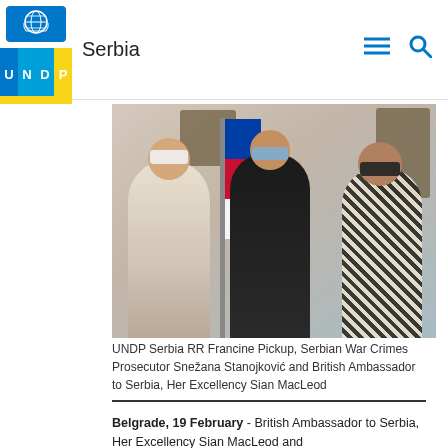Serbia
[Figure (photo): Three women wearing face masks standing indoors in front of a Serbian flag, coat of arms on the wall, and a bronze relief sculpture on the right wall.]
UNDP Serbia RR Francine Pickup, Serbian War Crimes Prosecutor Snežana Stanojković and British Ambassador to Serbia, Her Excellency Sian MacLeod
Belgrade, 19 February - British Ambassador to Serbia, Her Excellency Sian MacLeod and